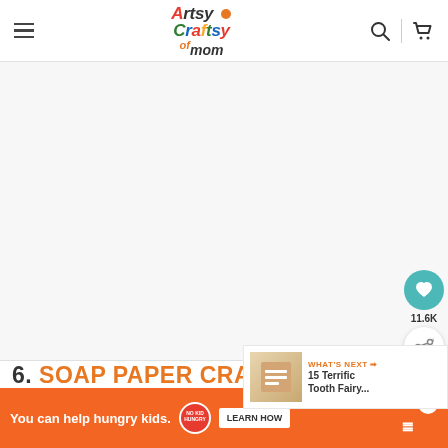Artsy Craftsy Mom
[Figure (screenshot): Blank/white content area representing a loaded webpage image placeholder for a craft article]
11.6K
6. SOAP PAPER CRAFT
WHAT'S NEXT → 15 Terrific Tooth Fairy...
You can help hungry kids. NOKID HUNGRY LEARN HOW